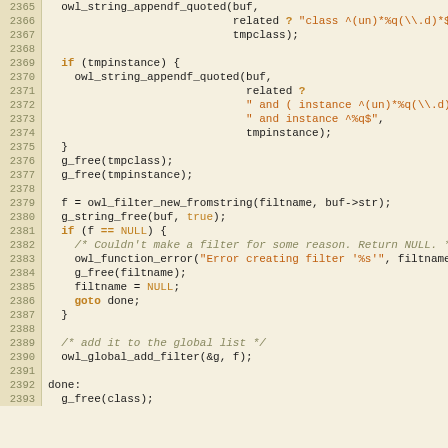[Figure (screenshot): Source code listing lines 2365-2393, C programming language, showing owl filter creation logic with string operations, error handling, and global list addition.]